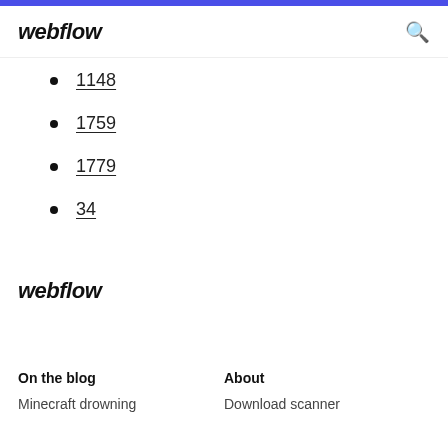webflow [logo header bar with search icon]
1148
1759
1779
34
webflow
On the blog
About
Minecraft drowning
Download scanner